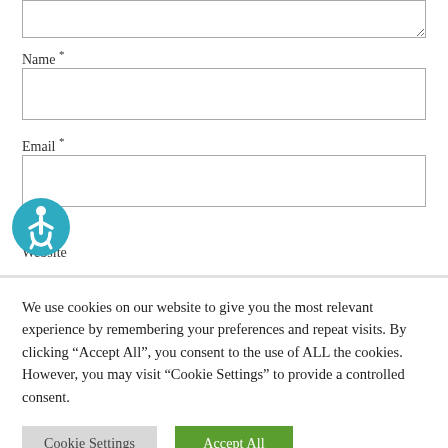[Figure (other): Textarea input box (top of page, partially visible)]
Name *
[Figure (other): Name text input field (empty)]
Email *
[Figure (other): Email text input field (empty)]
[Figure (other): Accessibility icon — blue circle with wheelchair user symbol]
Website
We use cookies on our website to give you the most relevant experience by remembering your preferences and repeat visits. By clicking “Accept All”, you consent to the use of ALL the cookies. However, you may visit "Cookie Settings" to provide a controlled consent.
Cookie Settings
Accept All